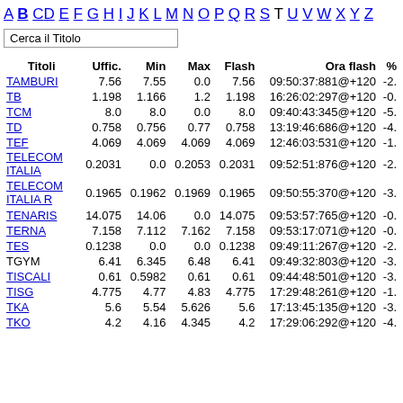A B C D E F G H I J K L M N O P Q R S T U V W X Y Z
Cerca il Titolo
| Titoli | Uffic. | Min | Max | Flash | Ora flash | % |
| --- | --- | --- | --- | --- | --- | --- |
| TAMBURI | 7.56 | 7.55 | 0.0 | 7.56 | 09:50:37:881@+120 | -2. |
| TB | 1.198 | 1.166 | 1.2 | 1.198 | 16:26:02:297@+120 | -0. |
| TCM | 8.0 | 8.0 | 0.0 | 8.0 | 09:40:43:345@+120 | -5. |
| TD | 0.758 | 0.756 | 0.77 | 0.758 | 13:19:46:686@+120 | -4. |
| TEF | 4.069 | 4.069 | 4.069 | 4.069 | 12:46:03:531@+120 | -1. |
| TELECOM ITALIA | 0.2031 | 0.0 | 0.2053 | 0.2031 | 09:52:51:876@+120 | -2. |
| TELECOM ITALIA R | 0.1965 | 0.1962 | 0.1969 | 0.1965 | 09:50:55:370@+120 | -3. |
| TENARIS | 14.075 | 14.06 | 0.0 | 14.075 | 09:53:57:765@+120 | -0. |
| TERNA | 7.158 | 7.112 | 7.162 | 7.158 | 09:53:17:071@+120 | -0. |
| TES | 0.1238 | 0.0 | 0.0 | 0.1238 | 09:49:11:267@+120 | -2. |
| TGYM | 6.41 | 6.345 | 6.48 | 6.41 | 09:49:32:803@+120 | -3. |
| TISCALI | 0.61 | 0.5982 | 0.61 | 0.61 | 09:44:48:501@+120 | -3. |
| TISG | 4.775 | 4.77 | 4.83 | 4.775 | 17:29:48:261@+120 | -1. |
| TKA | 5.6 | 5.54 | 5.626 | 5.6 | 17:13:45:135@+120 | -3. |
| TKO | 4.2 | 4.16 | 4.345 | 4.2 | 17:29:06:292@+120 | -4. |